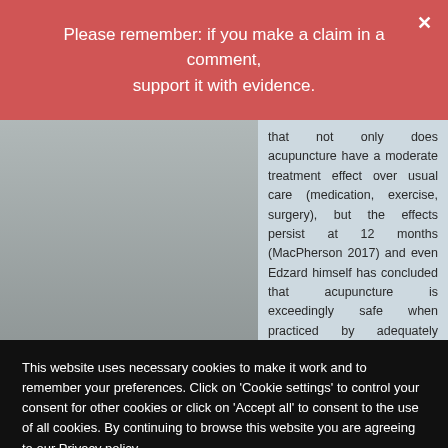Please remember: if you make a claim in a comment, support it with evidence.
that not only does acupuncture have a moderate treatment effect over usual care (medication, exercise, surgery), but the effects persist at 12 months (MacPherson 2017) and even Edzard himself has concluded that acupuncture is exceedingly safe when practiced by adequately trained practitioners. Meanwhile, not only are opioids frequently addictive and lethal, but a
This website uses necessary cookies to make it work and to remember your preferences. Click on 'Cookie settings' to control your consent for other cookies or click on 'Accept all' to consent to the use of all cookies. By continuing to browse this website you are agreeing to our Privacy policy.
Accept all
Cookie settings
Privacy policy